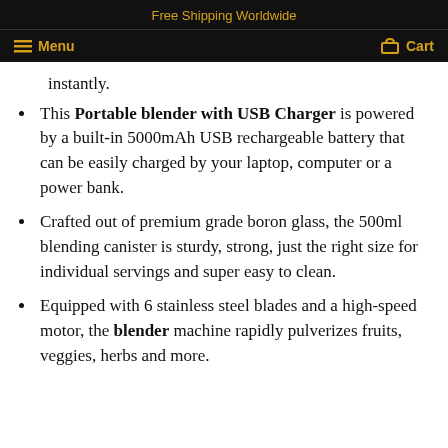Free Shipping Worldwide
Menu   Cart
instantly.
This Portable blender with USB Charger is powered by a built-in 5000mAh USB rechargeable battery that can be easily charged by your laptop, computer or a power bank.
Crafted out of premium grade boron glass, the 500ml blending canister is sturdy, strong, just the right size for individual servings and super easy to clean.
Equipped with 6 stainless steel blades and a high-speed motor, the blender machine rapidly pulverizes fruits, veggies, herbs and more.